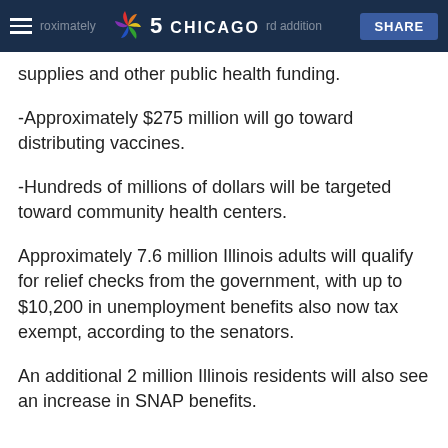NBC 5 Chicago | SHARE
approximately ... rd addition supplies and other public health funding.
-Approximately $275 million will go toward distributing vaccines.
-Hundreds of millions of dollars will be targeted toward community health centers.
Approximately 7.6 million Illinois adults will qualify for relief checks from the government, with up to $10,200 in unemployment benefits also now tax exempt, according to the senators.
An additional 2 million Illinois residents will also see an increase in SNAP benefits.